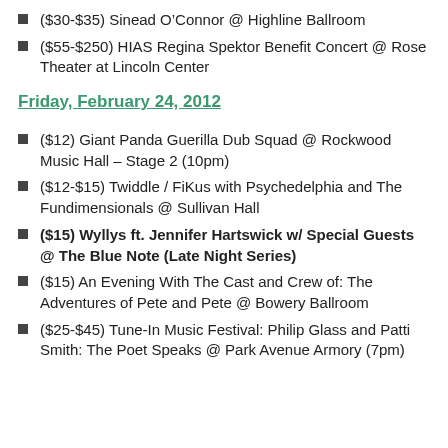($30-$35) Sinead O’Connor @ Highline Ballroom
($55-$250) HIAS Regina Spektor Benefit Concert @ Rose Theater at Lincoln Center
Friday, February 24, 2012
($12) Giant Panda Guerilla Dub Squad @ Rockwood Music Hall – Stage 2 (10pm)
($12-$15) Twiddle / FiKus with Psychedelphia and The Fundimensionals @ Sullivan Hall
($15) Wyllys ft. Jennifer Hartswick w/ Special Guests @ The Blue Note (Late Night Series)
($15) An Evening With The Cast and Crew of: The Adventures of Pete and Pete @ Bowery Ballroom
($25-$45) Tune-In Music Festival: Philip Glass and Patti Smith: The Poet Speaks @ Park Avenue Armory (7pm)